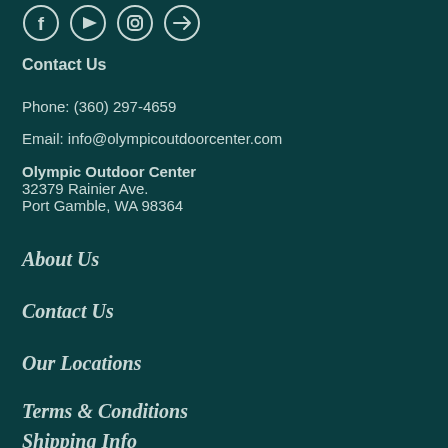[Figure (other): Social media icon circles for Facebook, YouTube, Instagram, and a messaging/arrow icon]
Contact Us
Phone: (360) 297-4659
Email: info@olympicoutdoorcenter.com
Olympic Outdoor Center
32379 Rainier Ave.
Port Gamble, WA 98364
About Us
Contact Us
Our Locations
Terms & Conditions
Shipping Info